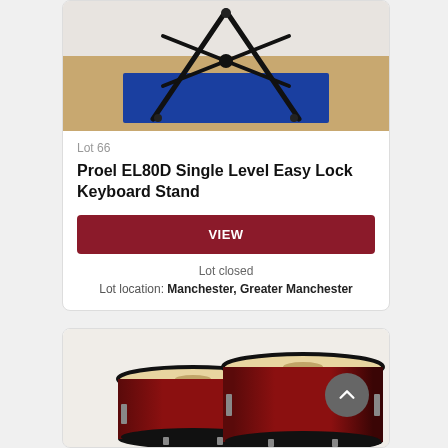[Figure (photo): Photo of a Proel EL80D Single Level Easy Lock Keyboard Stand on a blue mat on a wooden floor]
Lot 66
Proel EL80D Single Level Easy Lock Keyboard Stand
VIEW
Lot closed
Lot location: Manchester, Greater Manchester
[Figure (photo): Photo of bongo drums with wooden tops and red/black body]